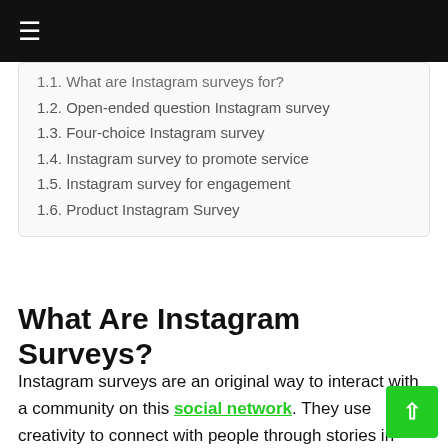≡
1.1. What are Instagram surveys for?
1.2. Open-ended question Instagram survey
1.3. Four-choice Instagram survey
1.4. Instagram survey to promote service
1.5. Instagram survey for engagement
1.6. Product Instagram Survey
What Are Instagram Surveys?
Instagram surveys are an original way to interact with a community on this social network. They use creativity to connect with people through stories in which an image or video asks a type of question or poll to generate a reaction or comments.